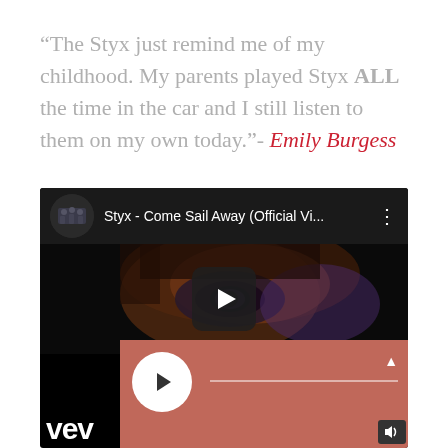“The Styx just remind me of my childhood. My parents played Styx ALL the time in the car and I still listen to them on my own today.”- Emily Burgess
[Figure (screenshot): Screenshot of a YouTube video embed showing Styx - Come Sail Away (Official Vi...) with a close-up blurry image of an eye/face in the video thumbnail, a play button overlay, and a red/coral colored music player panel at the bottom with a circular play button and progress bar. The vevo logo is visible in the bottom left.]